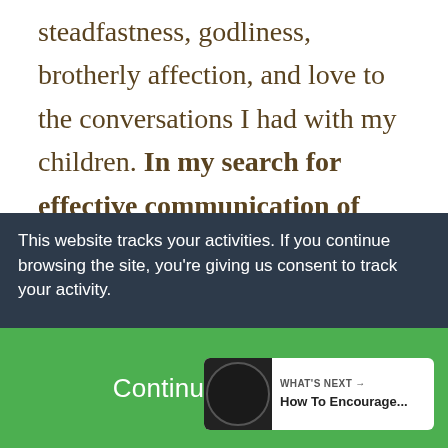steadfastness, godliness, brotherly affection, and love to the conversations I had with my children. In my search for effective communication of godly character, I began to see such good results. The conversations I
This website tracks your activities. If you continue browsing the site, you're giving us consent to track your activity.
Continue Browsing
WHAT'S NEXT → How To Encourage...